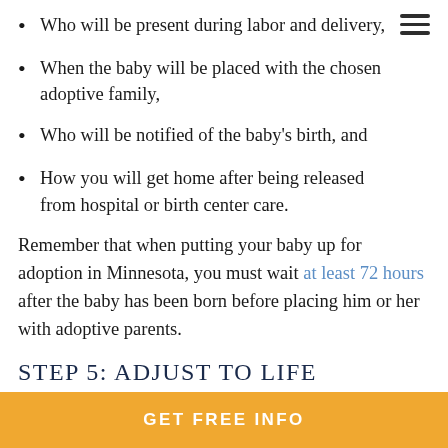Who will be present during labor and delivery,
When the baby will be placed with the chosen adoptive family,
Who will be notified of the baby's birth, and
How you will get home after being released from hospital or birth center care.
Remember that when putting your baby up for adoption in Minnesota, you must wait at least 72 hours after the baby has been born before placing him or her with adoptive parents.
STEP 5: ADJUST TO LIFE AFTER ADOPTION.
GET FREE INFO